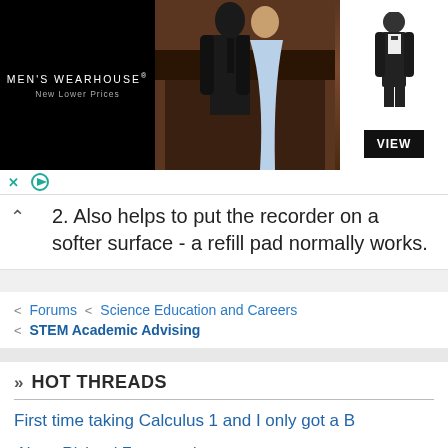[Figure (screenshot): Men's Wearhouse advertisement banner showing a couple in formal wear and a man in a tuxedo, with VIEW button]
2. Also helps to put the recorder on a softer surface - a refill pad normally works.
< Forums < Science Education and Careers
< STEM Academic Advising
» HOT THREADS
First time taking Calculus 1 and I only got a B
About Richard Feynman lectures
Math analysis and ODE
How to Decide what to Follow Schedule...